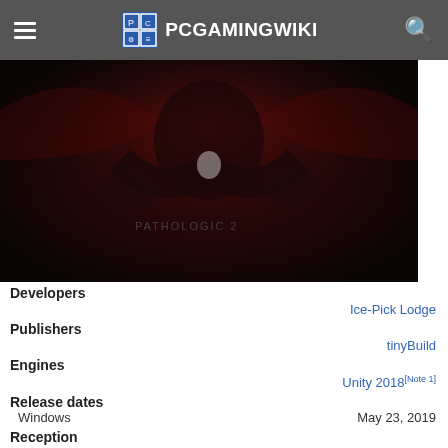PCGamingWiki
[Figure (photo): Dark atmospheric game artwork showing a figure holding something, with red and dark tones, text overlay partially visible]
Developers
Ice-Pick Lodge
Publishers
tinyBuild
Engines
Unity 2018[Note 1]
Release dates
Windows  May 23, 2019
Reception
Metacritic  69
OpenCritic  68